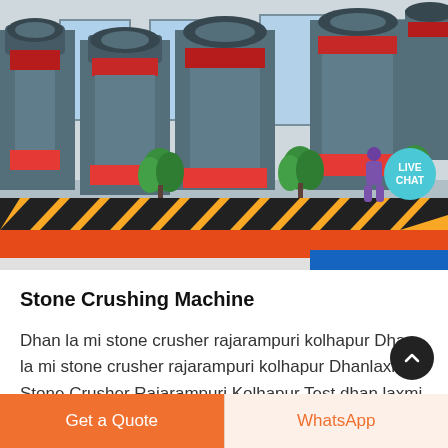[Figure (photo): Industrial factory floor with large gray and red stone crushing machines, green plants, yellow-black hazard stripes on ground, orange floor areas, and blue walls in background. Live Chat bubble visible in top right area.]
Stone Crushing Machine
Dhan la mi stone crusher rajarampuri kolhapur Dhan la mi stone crusher rajarampuri kolhapur Dhanlaxmi Stone Crusher Rajarampuri Kolhapur Test dhan laxmi stone crusher rajarampuri kolhapur stone crusher shanghai crusher Zenith stone crusher 40 Get Price Online stone crusher for sale in kolhapur jiayitw S e